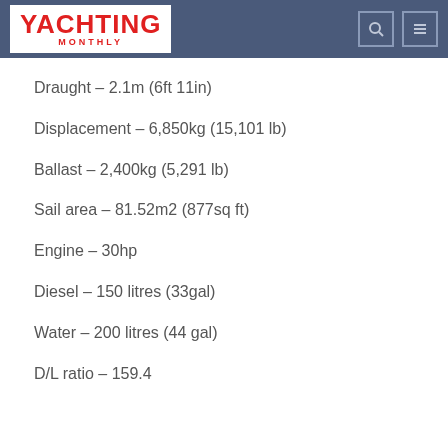YACHTING MONTHLY
Draught – 2.1m (6ft 11in)
Displacement – 6,850kg (15,101 lb)
Ballast – 2,400kg (5,291 lb)
Sail area – 81.52m2 (877sq ft)
Engine – 30hp
Diesel – 150 litres (33gal)
Water – 200 litres (44 gal)
D/L ratio – 159.4